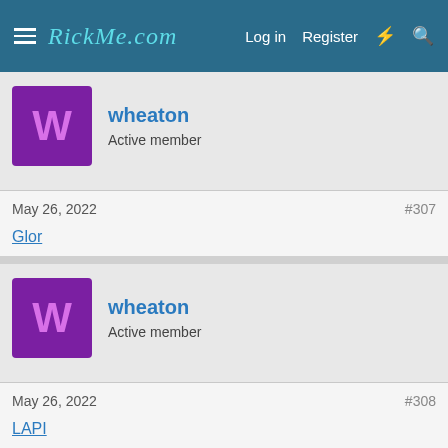RickMe.com — Log in  Register
wheaton
Active member
May 26, 2022   #307
Glor
wheaton
Active member
May 26, 2022   #308
LAPI
wheaton
Active member
May 26, 2022   #309